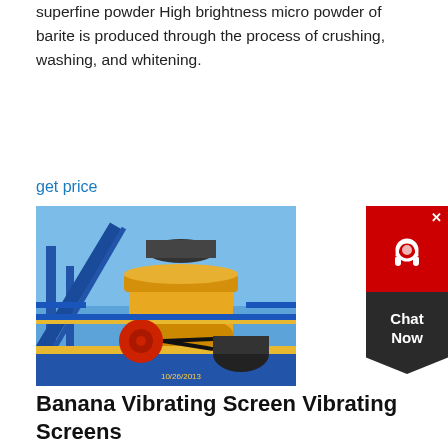superfine powder High brightness micro powder of barite is produced through the process of crushing, washing, and whitening.
get price
[Figure (photo): Industrial mining/crushing machine (cone crusher) on a blue steel platform structure against a blue sky, yellow and red machinery, dated 10/26/2013]
[Figure (other): Chat Now widget with red top section showing headset icon and X close button, dark chevron bottom with Chat Now text]
Banana Vibrating Screen Vibrating Screens
Banana Vibrating Screen. This series banana vibrating screen is a linear vibrating screen with a box type exciter. Compared with